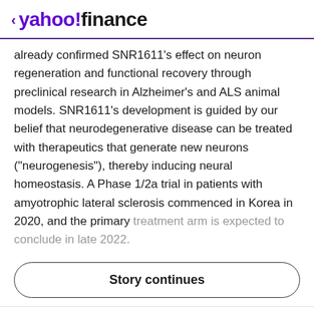< yahoo!finance
already confirmed SNR1611's effect on neuron regeneration and functional recovery through preclinical research in Alzheimer's and ALS animal models. SNR1611's development is guided by our belief that neurodegenerative disease can be treated with therapeutics that generate new neurons ("neurogenesis"), thereby inducing neural homeostasis. A Phase 1/2a trial in patients with amyotrophic lateral sclerosis commenced in Korea in 2020, and the primary treatment arm is expected to conclude in late 2022.
Story continues
View comments